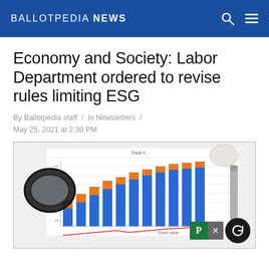BALLOTPEDIA NEWS
Economy and Society: Labor Department ordered to revise rules limiting ESG
By Ballotpedia staff / In Newsletters / May 25, 2021 at 2:30 PM
[Figure (photo): Photo of a financial bar chart document showing blue and orange stacked bars with 'Share value' label, with eyeglasses and a pen resting on it]